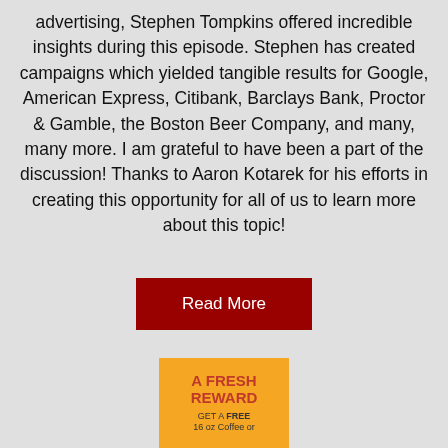advertising, Stephen Tompkins offered incredible insights during this episode. Stephen has created campaigns which yielded tangible results for Google, American Express, Citibank, Barclays Bank, Proctor & Gamble, the Boston Beer Company, and many, many more. I am grateful to have been a part of the discussion! Thanks to Aaron Kotarek for his efforts in creating this opportunity for all of us to learn more about this topic!
Read More
[Figure (infographic): A Fresh Reward advertisement banner in orange with red text reading 'A FRESH REWARD' and smaller text 'GET A FREE 16 oz Coffee or']